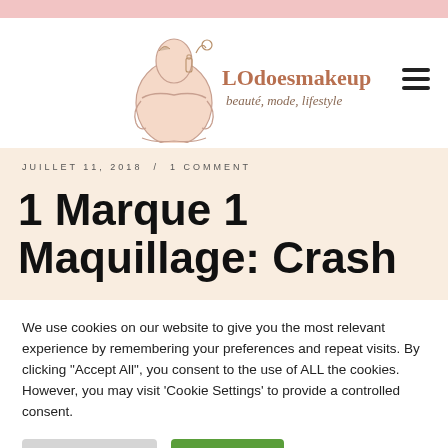[Figure (logo): LOdoesmakeup blog logo with illustrated woman figure and text 'LOdoesmakeup beauté, mode, lifestyle']
JUILLET 11, 2018 / 1 COMMENT
1 Marque 1 Maquillage: Crash
We use cookies on our website to give you the most relevant experience by remembering your preferences and repeat visits. By clicking "Accept All", you consent to the use of ALL the cookies. However, you may visit 'Cookie Settings' to provide a controlled consent.